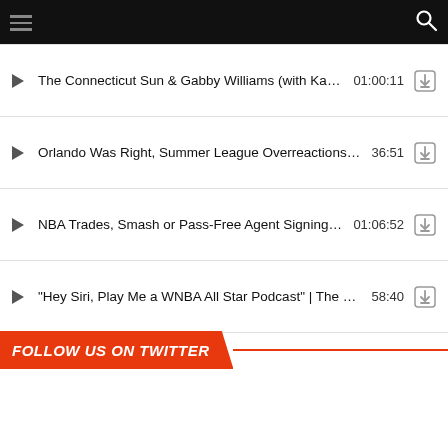Navigation header with hamburger menu and search icon
The Connecticut Sun & Gabby Williams (with Kayla … 01:00:11
Orlando Was Right, Summer League Overreactions, & … 36:51
NBA Trades, Smash or Pass-Free Agent Signings, & … 01:06:52
"Hey Siri, Play Me a WNBA All Star Podcast" | The Six… 58:40
FOLLOW US ON TWITTER